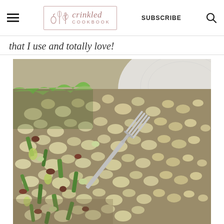Crinkled Cookbook — SUBSCRIBE
that I use and totally love!
[Figure (photo): Close-up photo of a cauliflower rice dish with green onions, meat, and vegetables served on a white plate with a fork visible on the right side.]